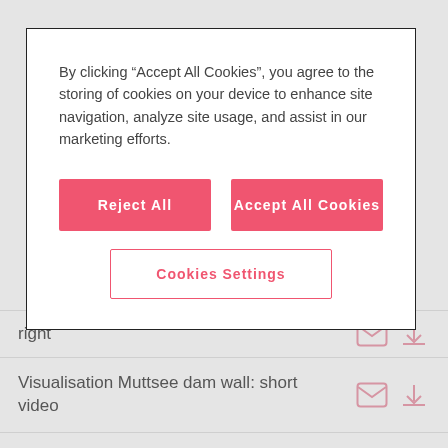[Figure (screenshot): Cookie consent modal dialog with 'Reject All', 'Accept All Cookies', and 'Cookies Settings' buttons on a white card with border]
By clicking “Accept All Cookies”, you agree to the storing of cookies on your device to enhance site navigation, analyze site usage, and assist in our marketing efforts.
right
Visualisation Muttsee dam wall: short video
Visualisation Muttsee dam wall: long video